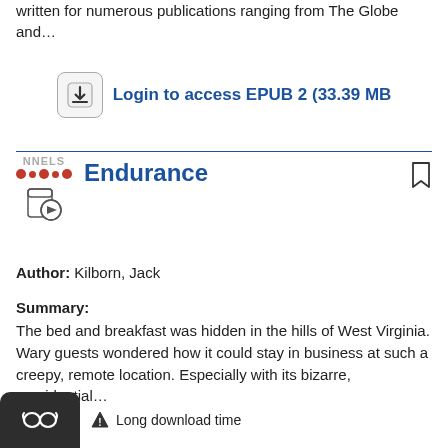written for numerous publications ranging from The Globe and...
[Figure (other): Download button with login link: Login to access EPUB 2 (33.39 MB)]
[Figure (logo): NNELS logo with red dots and audio/DAISY book icon, book title Endurance in blue with bookmark icon]
Author: Kilborn, Jack
Summary:
The bed and breakfast was hidden in the hills of West Virginia. Wary guests wondered how it could stay in business at such a creepy, remote location. Especially with its bizarre, presidential...
⚠ Long download time